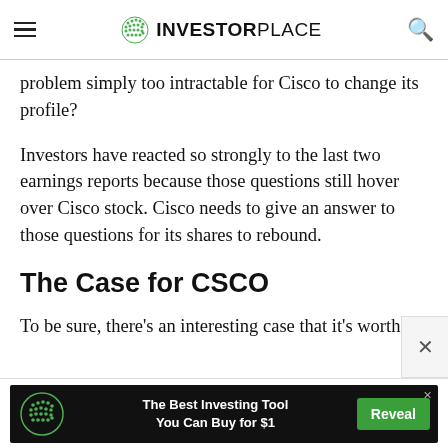InvestorPlace
problem simply too intractable for Cisco to change its profile?
Investors have reacted so strongly to the last two earnings reports because those questions still hover over Cisco stock. Cisco needs to give an answer to those questions for its shares to rebound.
The Case for CSCO
To be sure, there's an interesting case that it's worth